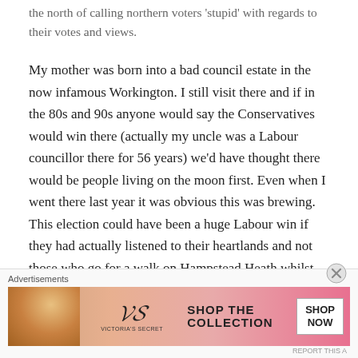the north of calling northern voters 'stupid' with regards to their votes and views.
My mother was born into a bad council estate in the now infamous Workington. I still visit there and if in the 80s and 90s anyone would say the Conservatives would win there (actually my uncle was a Labour councillor there for 56 years) we'd have thought there would be people living on the moon first. Even when I went there last year it was obvious this was brewing. This election could have been a huge Labour win if they had actually listened to their heartlands and not those who go for a walk on Hampstead Heath whilst their au-pair takes the children to school in a 4*4.
[Figure (other): Victoria's Secret advertisement banner with model, logo, 'SHOP THE COLLECTION' text and 'SHOP NOW' button]